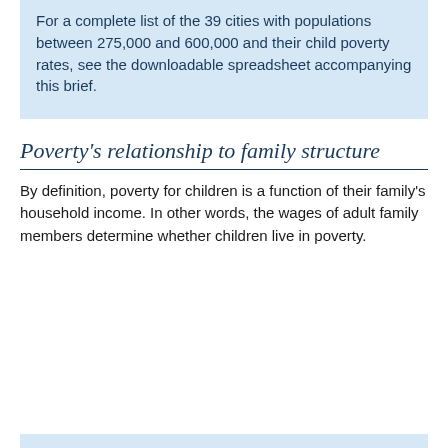For a complete list of the 39 cities with populations between 275,000 and 600,000 and their child poverty rates, see the downloadable spreadsheet accompanying this brief.
Poverty's relationship to family structure
By definition, poverty for children is a function of their family's household income. In other words, the wages of adult family members determine whether children live in poverty.